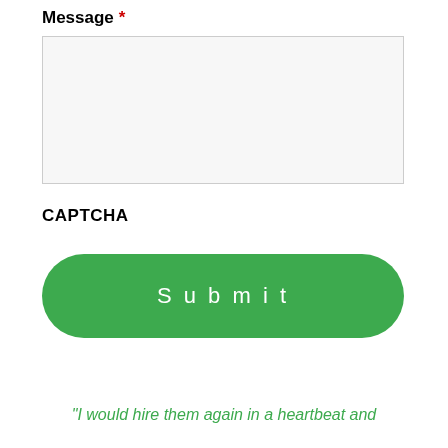Message *
[Figure (other): Empty message textarea input box with light grey background and border]
CAPTCHA
[Figure (other): Green rounded Submit button]
“I would hire them again in a heartbeat and